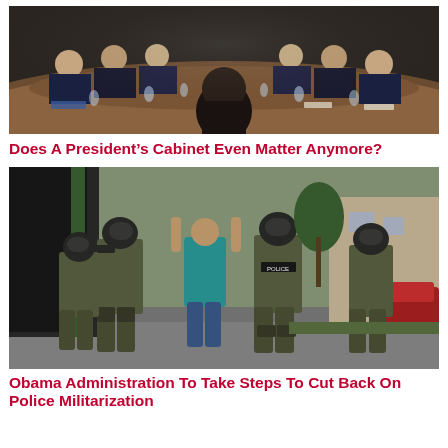[Figure (photo): People seated around a large conference table in a formal meeting, seen from behind a person at the head of the table. Men in dark suits on both sides of the table with water glasses visible.]
Does A President’s Cabinet Even Matter Anymore?
[Figure (photo): Armed police officers in military-style tactical gear and helmets walking on a street. A civilian in a teal shirt walks among them with hands raised. Police vehicles visible in background.]
Obama Administration To Take Steps To Cut Back On Police Militarization